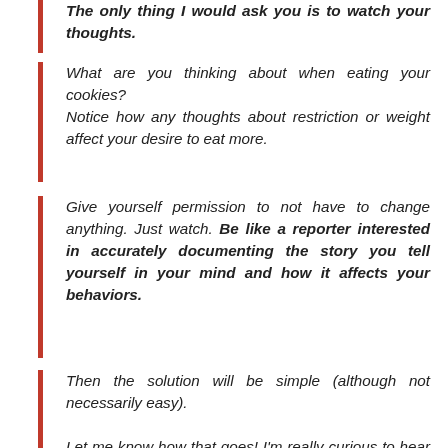The only thing I would ask you is to watch your thoughts.
What are you thinking about when eating your cookies?
Notice how any thoughts about restriction or weight affect your desire to eat more.
Give yourself permission to not have to change anything. Just watch. Be like a reporter interested in accurately documenting the story you tell yourself in your mind and how it affects your behaviors.
Then the solution will be simple (although not necessarily easy).

Let me know how that goes! I'm really curious to hear what the reporter in you finds out!